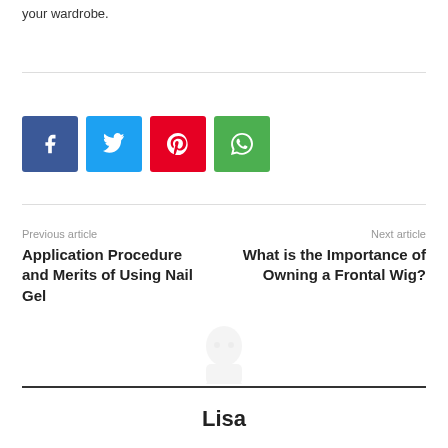your wardrobe.
[Figure (illustration): Social share buttons: Facebook (blue), Twitter (cyan), Pinterest (red), WhatsApp (green)]
Previous article
Application Procedure and Merits of Using Nail Gel
Next article
What is the Importance of Owning a Frontal Wig?
[Figure (illustration): Faint ghost/avatar silhouette icon]
Lisa